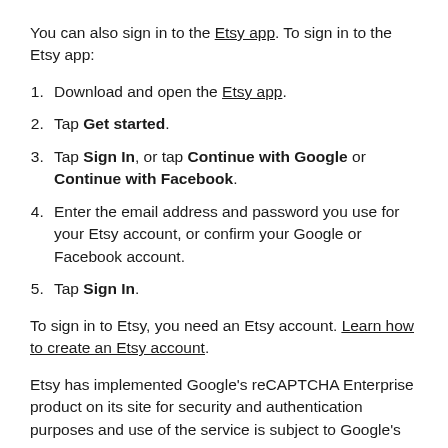You can also sign in to the Etsy app. To sign in to the Etsy app:
Download and open the Etsy app.
Tap Get started.
Tap Sign In, or tap Continue with Google or Continue with Facebook.
Enter the email address and password you use for your Etsy account, or confirm your Google or Facebook account.
Tap Sign In.
To sign in to Etsy, you need an Etsy account. Learn how to create an Etsy account.
Etsy has implemented Google's reCAPTCHA Enterprise product on its site for security and authentication purposes and use of the service is subject to Google's